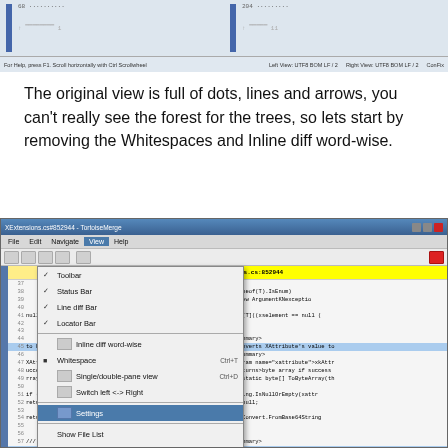[Figure (screenshot): Top portion of a TortoiseMerge diff window showing a status bar with text: For Help, press F1. Scroll horizontally with Ctrl Scrollwheel. Left View: UTF8 BOM LF / 2. Right View: UTF8 BOM LF / 2. ConFix]
The original view is full of dots, lines and arrows, you can't really see the forest for the trees, so lets start by removing the Whitespaces and Inline diff word-wise.
[Figure (screenshot): Screenshot of TortoiseMerge application showing a diff of XExtensions.cs#852944 with the View menu open. The menu shows options: Toolbar (checked), Status Bar (checked), Line diff Bar (checked), Locator Bar (checked), Inline diff word-wise, Whitespace (checked, Ctrl+T), Single/double-pane view (Ctrl+D), Switch left <-> Right, Settings, Show File List, Application Look (with submenu arrow). The diff panels show C# code with line numbers 37-64 on both sides. Some lines are highlighted in blue/yellow indicating differences.]